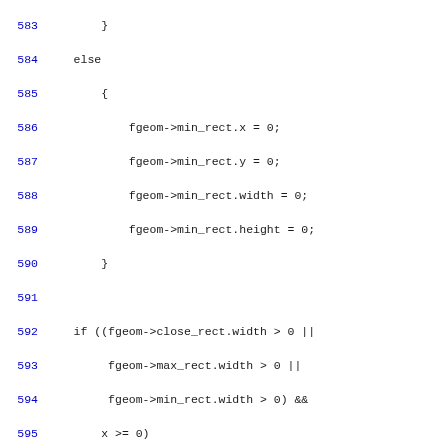[Figure (other): Source code listing lines 583-612 in C/C++, showing geometry calculation logic including min_rect, close_rect, max_rect, spacer_rect assignments]